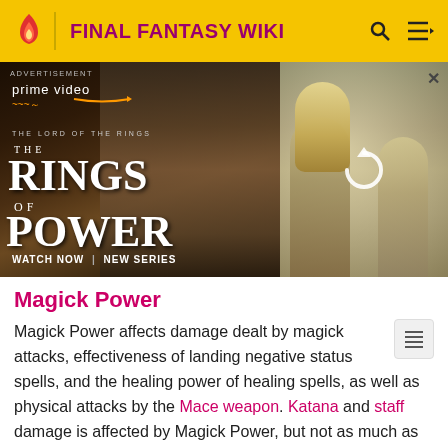FINAL FANTASY WIKI
[Figure (photo): Advertisement for Amazon Prime Video - The Lord of the Rings: The Rings of Power. Shows a hooded statue-like figure on the left side with text 'prime video', 'THE LORD OF THE RINGS', 'THE RINGS OF POWER', 'WATCH NOW | NEW SERIES'. Right side shows a blond woman and other figures with a refresh/reload icon overlay.]
Magick Power
Magick Power affects damage dealt by magick attacks, effectiveness of landing negative status spells, and the healing power of healing spells, as well as physical attacks by the Mace weapon. Katana and staff damage is affected by Magick Power, but not as much as Strength. Magick Power is increased by some armor; mostly Mystic Armor. Each Magick Lore license gives +1 Magick; the